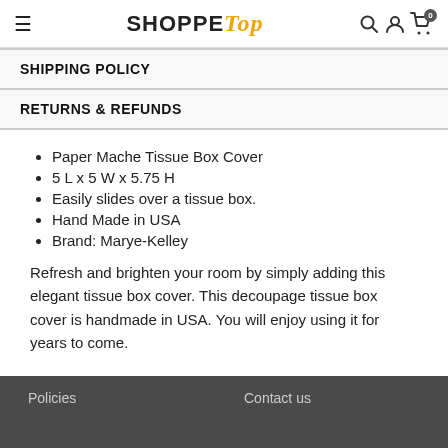≡ SHOPPE Top [search][user][cart 0]
SHIPPING POLICY
RETURNS & REFUNDS
Paper Mache Tissue Box Cover
5 L x 5 W x 5.75 H
Easily slides over a tissue box.
Hand Made in USA
Brand: Marye-Kelley
Refresh and brighten your room by simply adding this elegant tissue box cover. This decoupage tissue box cover is handmade in USA. You will enjoy using it for years to come.
Policies    Contact us